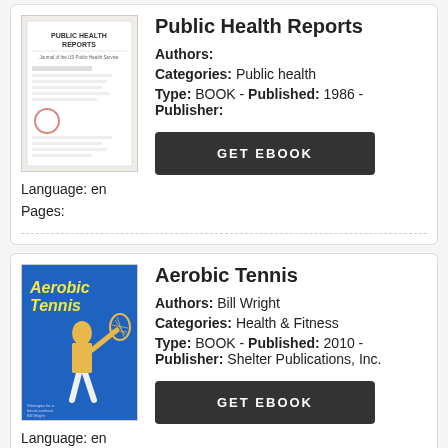[Figure (illustration): Book cover for Public Health Reports, showing a journal/report with text on white background]
Public Health Reports
Authors:
Categories: Public health
Type: BOOK - Published: 1986 - Publisher:
Language: en
Pages:
GET EBOOK
[Figure (illustration): Book cover for Aerobic Tennis, showing a tennis player in yellow shirt on blue background with title text in yellow]
Aerobic Tennis
Authors: Bill Wright
Categories: Health & Fitness
Type: BOOK - Published: 2010 - Publisher: Shelter Publications, Inc.
Language: en
Pages: 189
GET EBOOK
Tennis players often turn to running, cycling, or